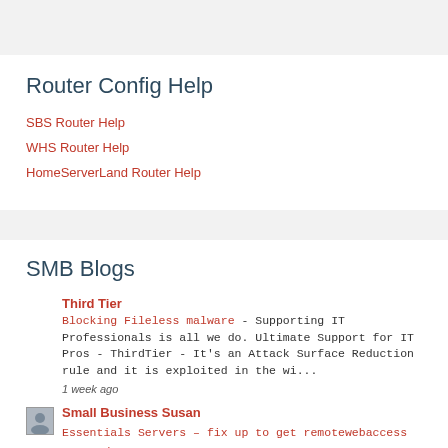Router Config Help
SBS Router Help
WHS Router Help
HomeServerLand Router Help
SMB Blogs
Third Tier
Blocking Fileless malware - Supporting IT Professionals is all we do. Ultimate Support for IT Pros - ThirdTier - It's an Attack Surface Reduction rule and it is exploited in the wi...
1 week ago
Small Business Susan
Essentials Servers – fix up to get remotewebaccess renewed -